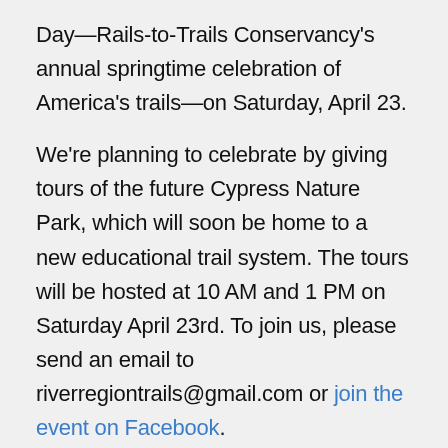Day—Rails-to-Trails Conservancy's annual springtime celebration of America's trails—on Saturday, April 23.

We're planning to celebrate by giving tours of the future Cypress Nature Park, which will soon be home to a new educational trail system. The tours will be hosted at 10 AM and 1 PM on Saturday April 23rd. To join us, please send an email to riverregiontrails@gmail.com or join the event on Facebook.